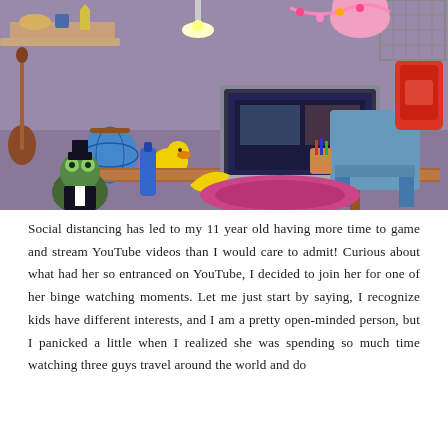[Figure (illustration): A colorful, cluttered children's room scene showing a messy desk with a laptop, globe, rubber duck, various toys and objects scattered around, a chair, backpack hanging on the wall, a bird cage, and cartoon frog characters in the foreground.]
Social distancing has led to my 11 year old having more time to game and stream YouTube videos than I would care to admit! Curious about what had her so entranced on YouTube, I decided to join her for one of her binge watching moments. Let me just start by saying, I recognize kids have different interests, and I am a pretty open-minded person, but I panicked a little when I realized she was spending so much time watching three guys travel around the world and do